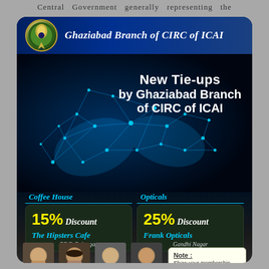Central Government generally representing the
[Figure (infographic): Ghaziabad Branch of CIRC of ICAI promotional infographic showing digital handshake image, new tie-ups announcement, coffee house 15% discount at The Hipsters Cafe (RDC, Rajnagar), and Opticals 25% discount at Frank Opticals (Gandhi Nagar). Includes ICAI logo and photos of branch officials.]
Ghaziabad Branch of CIRC of ICAI
New Tie-ups by Ghaziabad Branch of CIRC of ICAI
Coffee House
15% Discount
The Hipsters Cafe
RDC, Rajnagar
Opticals
25% Discount
Frank Opticals
Gandhi Nagar
Note: Show your membership card